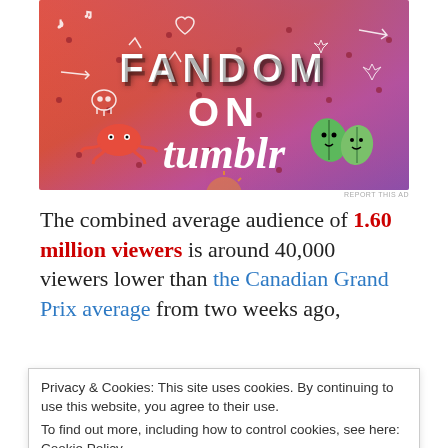[Figure (illustration): Colorful Tumblr 'Fandom on Tumblr' advertisement banner with orange-to-purple gradient background, white illustrated doodles, and bold text reading 'FANDOM ON tumblr']
REPORT THIS AD
The combined average audience of 1.60 million viewers is around 40,000 viewers lower than the Canadian Grand Prix average from two weeks ago,
Privacy & Cookies: This site uses cookies. By continuing to use this website, you agree to their use.
To find out more, including how to control cookies, see here: Cookie Policy
Close and accept
Advertisements